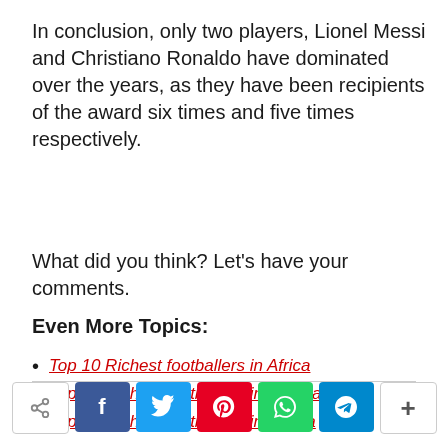In conclusion, only two players, Lionel Messi and Christiano Ronaldo have dominated over the years, as they have been recipients of the award six times and five times respectively.
What did you think? Let's have your comments.
Even More Topics:
Top 10 Richest footballers in Africa
Top 15 Richest footballers in Nigeria
Top 10 Richest footballers in Kenya